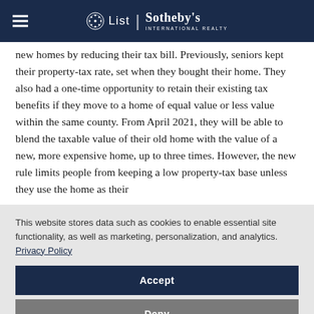List Sotheby's International Realty
new homes by reducing their tax bill. Previously, seniors kept their property-tax rate, set when they bought their home. They also had a one-time opportunity to retain their existing tax benefits if they move to a home of equal value or less value within the same county. From April 2021, they will be able to blend the taxable value of their old home with the value of a new, more expensive home, up to three times. However, the new rule limits people from keeping a low property-tax base unless they use the home as their
This website stores data such as cookies to enable essential site functionality, as well as marketing, personalization, and analytics. Privacy Policy
Accept
Deny